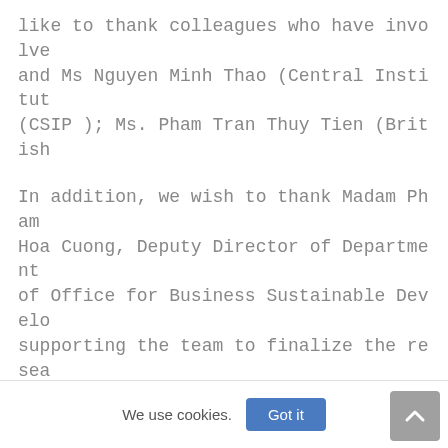like to thank colleagues who have involve and Ms Nguyen Minh Thao (Central Institut (CSIP ); Ms. Pham Tran Thuy Tien (British
In addition, we wish to thank Madam Pham Hoa Cuong, Deputy Director of Department of Office for Business Sustainable Develo supporting the team to finalize the resea
In order to complete this research, we ca terviewed 15 social enterprises in Hanoi, enterprises, representatives of social en enterprises sector in Singapore, Indonesi ences and two training workshops on socia experienced great cooperation and enthusi study visits is factual data which is ind